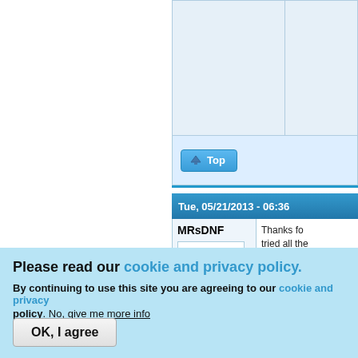[Figure (screenshot): Forum post top area with table cells and Top button, partial view of a forum thread]
Tue, 05/21/2013 - 06:36
MRsDNF
[Figure (illustration): Cartoon moose running illustration used as forum avatar]
Offline
Thanks fo... tried all the... right at this... handy for... reflectors... makes me... dome on t...
Please read our cookie and privacy policy.
By continuing to use this site you are agreeing to our cookie and privacy policy. No, give me more info
OK, I agree